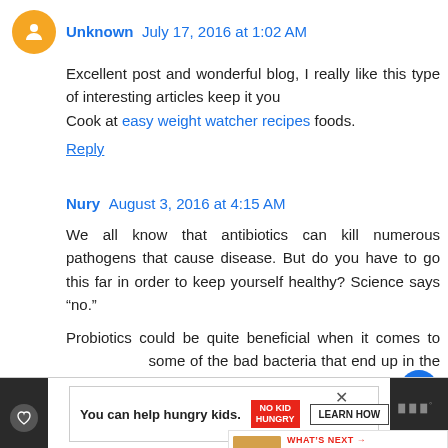Unknown July 17, 2016 at 1:02 AM
Excellent post and wonderful blog, I really like this type of interesting articles keep it you
Cook at easy weight watcher recipes foods.
Reply
Nury August 3, 2016 at 4:15 AM
We all know that antibiotics can kill numerous pathogens that cause disease. But do you have to go this far in order to keep yourself healthy? Science says “no.”
Probiotics could be quite beneficial when it comes to some of the bad bacteria that end up in the good. They’re also great for controlling other disease-causing agen…
Reply
You can help hungry kids. NO KID HUNGRY LEARN HOW